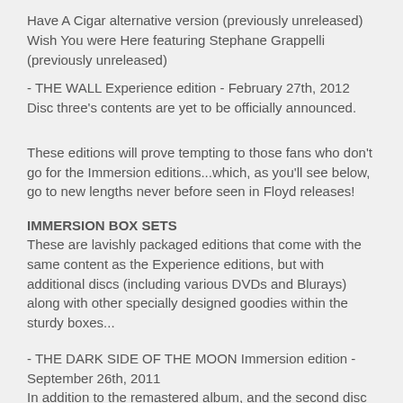Have A Cigar alternative version (previously unreleased)
Wish You were Here featuring Stephane Grappelli (previously unreleased)
- THE WALL Experience edition - February 27th, 2012
Disc three's contents are yet to be officially announced.
These editions will prove tempting to those fans who don't go for the Immersion editions...which, as you'll see below, go to new lengths never before seen in Floyd releases!
IMMERSION BOX SETS
These are lavishly packaged editions that come with the same content as the Experience editions, but with additional discs (including various DVDs and Blurays) along with other specially designed goodies within the sturdy boxes...
- THE DARK SIDE OF THE MOON Immersion edition - September 26th, 2011
In addition to the remastered album, and the second disc from the Experience edition with the BBC 1974 concert recording of TDSOTM, this edition comes with FOUR additional discs: